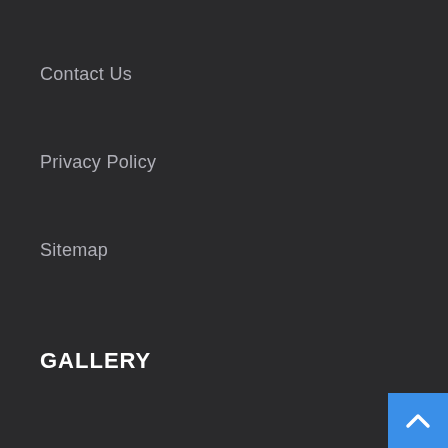Contact Us
Privacy Policy
Sitemap
GALLERY
[Figure (other): Blue back-to-top button with upward chevron arrow in bottom-right corner]